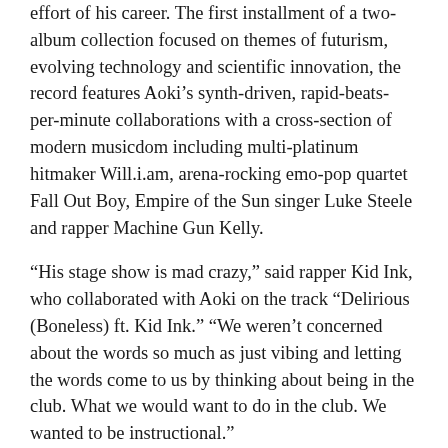effort of his career. The first installment of a two-album collection focused on themes of futurism, evolving technology and scientific innovation, the record features Aoki’s synth-driven, rapid-beats-per-minute collaborations with a cross-section of modern musicdom including multi-platinum hitmaker Will.i.am, arena-rocking emo-pop quartet Fall Out Boy, Empire of the Sun singer Luke Steele and rapper Machine Gun Kelly.
“His stage show is mad crazy,” said rapper Kid Ink, who collaborated with Aoki on the track “Delirious (Boneless) ft. Kid Ink.” “We weren’t concerned about the words so much as just vibing and letting the words come to us by thinking about being in the club. What we would want to do in the club. We wanted to be instructional.”
Already, “Boneless (Delirious) ft. Kid Ink” has become Aoki’s biggest hit. It has sold more than 225,000 downloads, is getting major airplay on Top 40 radio stations across the country and has racked up nearly 24 million YouTube